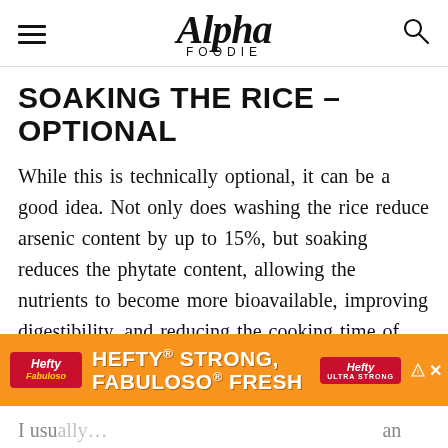Alpha Foodie
SOAKING THE RICE – OPTIONAL
While this is technically optional, it can be a good idea. Not only does washing the rice reduce arsenic content by up to 15%, but soaking reduces the phytate content, allowing the nutrients to become more bioavailable, improving digestibility, and reducing the cooking time of the rice.
[Figure (other): Advertisement banner: Hefty brand ad reading 'HEFTY STRONG, FABULOSO FRESH' with orange background and product imagery]
I usu… an